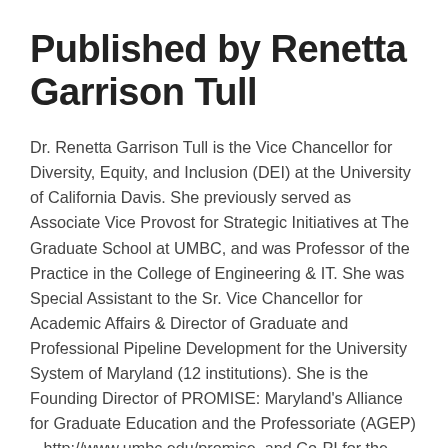Published by Renetta Garrison Tull
Dr. Renetta Garrison Tull is the Vice Chancellor for Diversity, Equity, and Inclusion (DEI) at the University of California Davis. She previously served as Associate Vice Provost for Strategic Initiatives at The Graduate School at UMBC, and was Professor of the Practice in the College of Engineering & IT. She was Special Assistant to the Sr. Vice Chancellor for Academic Affairs & Director of Graduate and Professional Pipeline Development for the University System of Maryland (12 institutions). She is the Founding Director of PROMISE: Maryland's Alliance for Graduate Education and the Professoriate (AGEP) – http://www.umbc.edu/promise, and Co-PI for the USM LSAMP. Her research on global diversity in